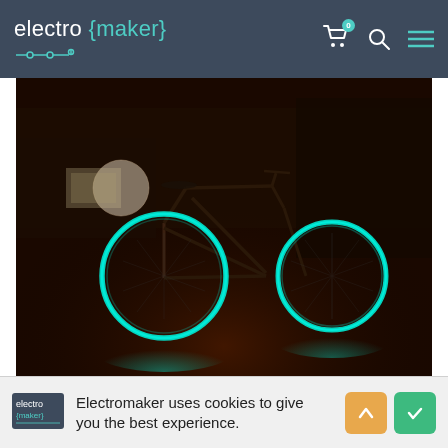electro {maker} — navigation header with cart, search, and menu icons
[Figure (photo): A bicycle in a dark garage with glowing cyan/teal LED lights on both wheel rims, illuminating the ground below]
Electromaker uses cookies to give you the best experience.